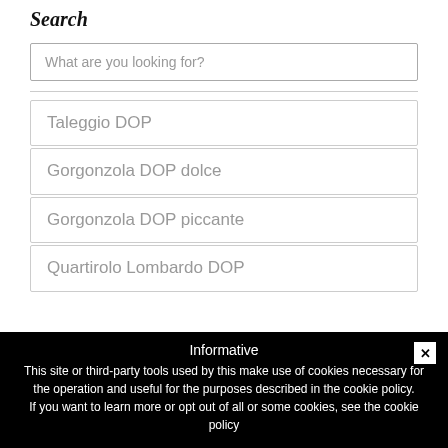Search
What are you looking for?
Taleggio DOP
Gorgonzola DOP dolce
Gorgonzola DOP piccante
Quartirolo Lombardo DOP
Informative
This site or third-party tools used by this make use of cookies necessary for the operation and useful for the purposes described in the cookie policy.
If you want to learn more or opt out of all or some cookies, see the cookie policy